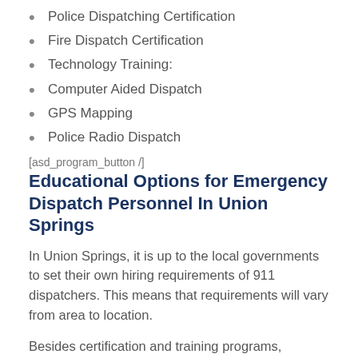Police Dispatching Certification
Fire Dispatch Certification
Technology Training:
Computer Aided Dispatch
GPS Mapping
Police Radio Dispatch
[asd_program_button /]
Educational Options for Emergency Dispatch Personnel In Union Springs
In Union Springs, it is up to the local governments to set their own hiring requirements of 911 dispatchers. This means that requirements will vary from area to location.
Besides certification and training programs, prospective 911 dispatchers must also demonstrate a level of skill and commitment to this career by making a